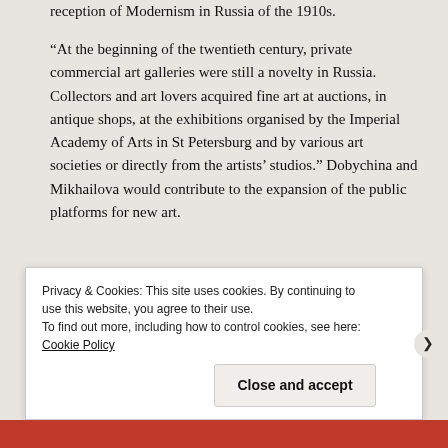reception of Modernism in Russia of the 1910s.
“At the beginning of the twentieth century, private commercial art galleries were still a novelty in Russia. Collectors and art lovers acquired fine art at auctions, in antique shops, at the exhibitions organised by the Imperial Academy of Arts in St Petersburg and by various art societies or directly from the artists’ studios.” Dobychina and Mikhailova would contribute to the expansion of the public platforms for new art.
In this period we see thr
Klavdia Ivanovna Mikhailova (née Suvirova) (1875-1942) was from a wealthy Muscovite merchant family, who studied art at Moscow School of Painting, Sculpture and Architecture, from 1891 to 1896.
Privacy & Cookies: This site uses cookies. By continuing to use this website, you agree to their use.
To find out more, including how to control cookies, see here: Cookie Policy
Close and accept